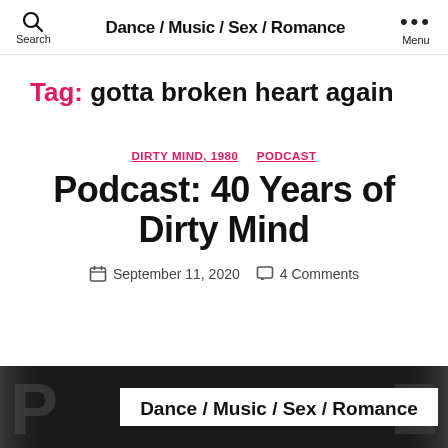Dance / Music / Sex / Romance
Tag: gotta broken heart again
DIRTY MIND, 1980   PODCAST
Podcast: 40 Years of Dirty Mind
September 11, 2020   4 Comments
[Figure (photo): Black and white thumbnail image with text overlay reading Dance / Music / Sex / Romance]